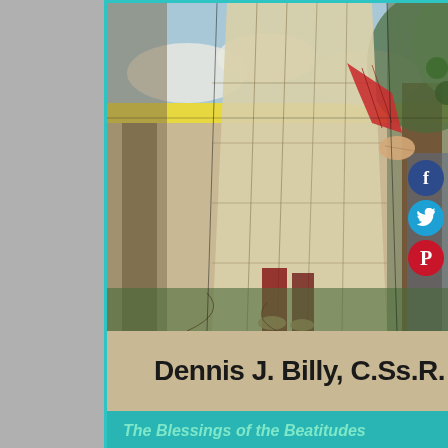[Figure (illustration): Book cover featuring a stained glass artwork of a robed figure standing next to a large tree, with the author name 'Dennis J. Billy, C.Ss.R.' and a teal bottom band with the title 'The Blessings of the Beatitudes']
Dennis J. Billy, C.Ss.R.
The Blessings of the Beatitudes